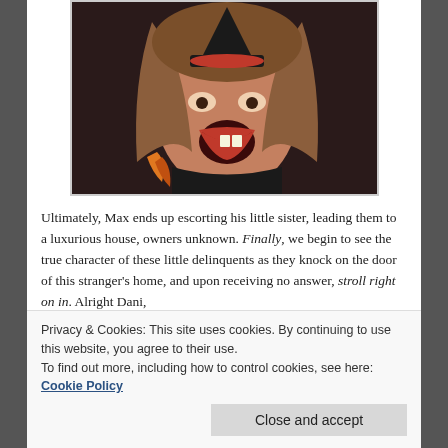[Figure (photo): A young girl dressed in a Halloween witch costume with red lips, mouth wide open as if screaming or yelling, with long brown hair, wearing a dark outfit. Red circular border/frame visible in background.]
Ultimately, Max ends up escorting his little sister, leading them to a luxurious house, owners unknown. Finally, we begin to see the true character of these little delinquents as they knock on the door of this stranger's home, and upon receiving no answer, stroll right on in. Alright Dani,
Privacy & Cookies: This site uses cookies. By continuing to use this website, you agree to their use.
To find out more, including how to control cookies, see here: Cookie Policy
Close and accept